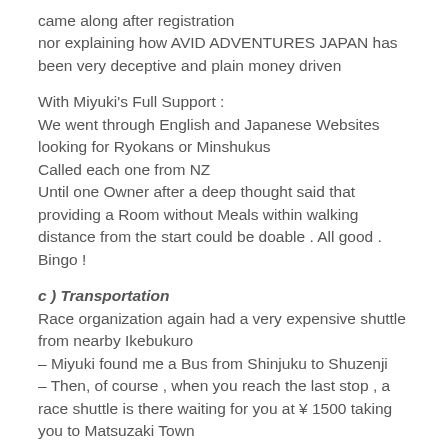came along after registration
nor explaining how AVID ADVENTURES JAPAN has been very deceptive and plain money driven
With Miyuki's Full Support :
We went through English and Japanese Websites looking for Ryokans or Minshukus
Called each one from NZ
Until one Owner after a deep thought said that providing a Room without Meals within walking distance from the start could be doable . All good . Bingo !
c ) Transportation
Race organization again had a very expensive shuttle from nearby Ikebukuro
– Miyuki found me a Bus from Shinjuku to Shuzenji
– Then, of course , when you reach the last stop , a race shuttle is there waiting for you at ¥ 1500 taking you to Matsuzaki Town
At finishing line :
After 71.7 km of running you need to get to the Train station located 2 km away
At 9 pm dark and cold , walking is barely an option .